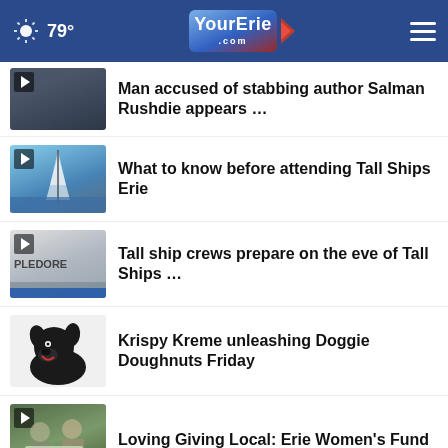YourErie.com — 79°
Man accused of stabbing author Salman Rushdie appears …
What to know before attending Tall Ships Erie
Tall ship crews prepare on the eve of Tall Ships …
Krispy Kreme unleashing Doggie Doughnuts Friday
Loving Giving Local: Erie Women's Fund
Vacant Erie Business Center to be…
View store hours, get directions, or call your salon!